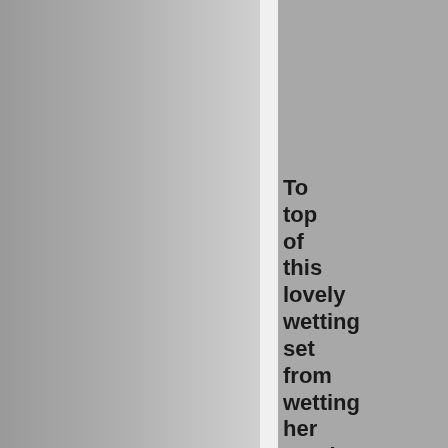[Figure (photo): Photo of feet wearing black strappy sandals with red toenails on a pink/mauve carpet, with a purple watermark strip reading www.wettingherpanties.com]
To top of this lovely wetting set from wetting her panties she has moved the wet